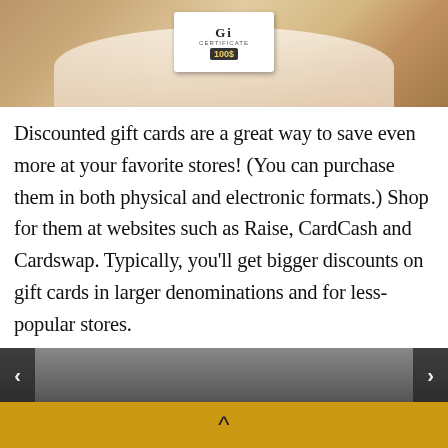[Figure (photo): Person holding up a gift certificate/gift card with both hands. The card appears to say 'Gift Certificate' with '100$' visible on a banner/ribbon element.]
Discounted gift cards are a great way to save even more at your favorite stores! (You can purchase them in both physical and electronic formats.) Shop for them at websites such as Raise, CardCash and Cardswap. Typically, you'll get bigger discounts on gift cards in larger denominations and for less-popular stores.
[Figure (photo): Bottom strip showing partial images on left and right sides with navigation arrows, appearing to be a slideshow/carousel of images.]